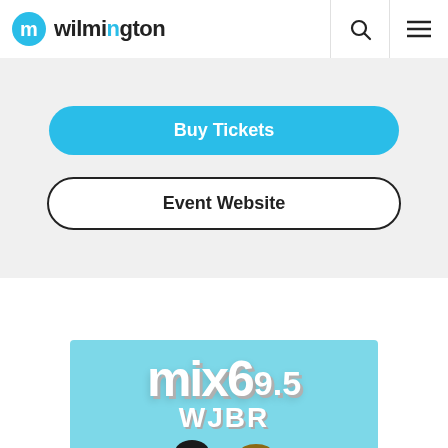wilmington
Buy Tickets
Event Website
[Figure (photo): Mix 99.5 WJBR radio station logo on teal/light blue background with two radio hosts (a woman and a man) shown from the shoulders up at the bottom of the image.]